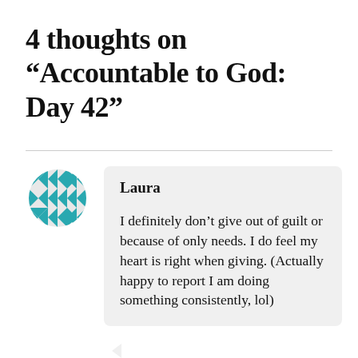4 thoughts on “Accountable to God: Day 42”
Laura
I definitely don’t give out of guilt or because of only needs. I do feel my heart is right when giving. (Actually happy to report I am doing something consistently, lol)